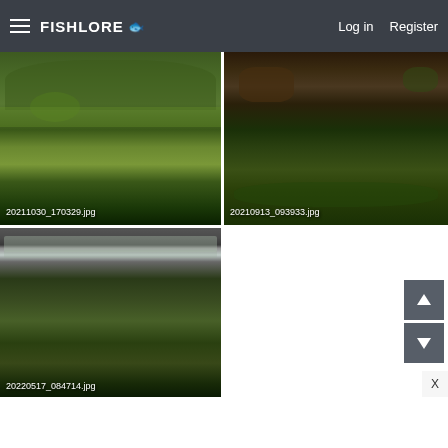FishLore  Log in  Register
[Figure (photo): Aquarium with green aquatic plants and driftwood, top-left thumbnail labeled 20211030_170329.jpg]
20211030_170329.jpg
[Figure (photo): Aquarium with green plants and dark substrate, top-right thumbnail labeled 20210913_093933.jpg]
20210913_093933.jpg
[Figure (photo): Aquarium with glass lid, aquatic plants and decorative figurine, bottom-left thumbnail labeled 20220517_084714.jpg]
20220517_084714.jpg